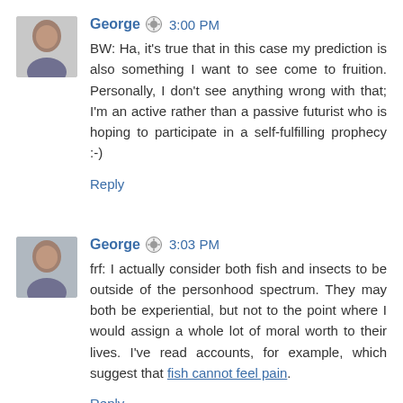[Figure (photo): Avatar photo of George (bald man)]
George  3:00 PM
BW: Ha, it's true that in this case my prediction is also something I want to see come to fruition. Personally, I don't see anything wrong with that; I'm an active rather than a passive futurist who is hoping to participate in a self-fulfilling prophecy :-)
Reply
[Figure (photo): Avatar photo of George (bald man)]
George  3:03 PM
frf: I actually consider both fish and insects to be outside of the personhood spectrum. They may both be experiential, but not to the point where I would assign a whole lot of moral worth to their lives. I've read accounts, for example, which suggest that fish cannot feel pain.
Reply
[Figure (photo): Avatar photo of Greg Ver Steeg]
Greg Ver Steeg  3:30 PM